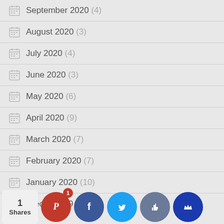September 2020 (4)
August 2020 (3)
July 2020 (4)
June 2020 (3)
May 2020 (6)
April 2020 (9)
March 2020 (7)
February 2020 (7)
January 2020 (10)
December 2019 (5)